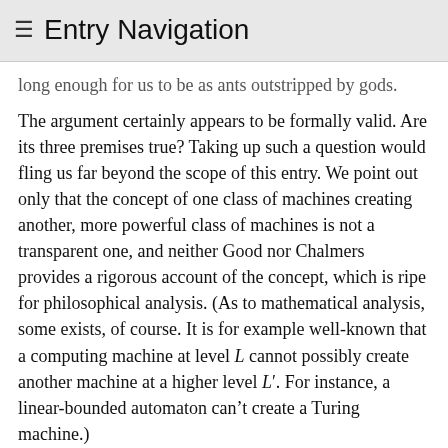≡ Entry Navigation
long enough for us to be as ants outstripped by gods.
The argument certainly appears to be formally valid. Are its three premises true? Taking up such a question would fling us far beyond the scope of this entry. We point out only that the concept of one class of machines creating another, more powerful class of machines is not a transparent one, and neither Good nor Chalmers provides a rigorous account of the concept, which is ripe for philosophical analysis. (As to mathematical analysis, some exists, of course. It is for example well-known that a computing machine at level L cannot possibly create another machine at a higher level L′. For instance, a linear-bounded automaton can't create a Turing machine.)
The Good-Chalmers argument has a rather clinical air about it; the argument doesn't say anything regarding whether machines in the AI++ category will be benign, malicious, or munificent. Many others gladly fill this gap with dark, dark pessimism. The locus classicus here is without question a widely read paper by Bill Joy (2000):